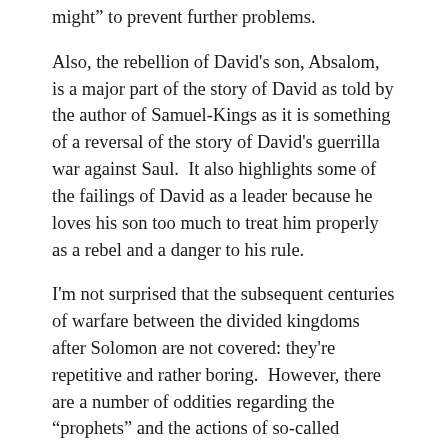might” to prevent further problems.
Also, the rebellion of David's son, Absalom, is a major part of the story of David as told by the author of Samuel-Kings as it is something of a reversal of the story of David's guerrilla war against Saul.  It also highlights some of the failings of David as a leader because he loves his son too much to treat him properly as a rebel and a danger to his rule.
I'm not surprised that the subsequent centuries of warfare between the divided kingdoms after Solomon are not covered: they're repetitive and rather boring.  However, there are a number of oddities regarding the “prophets” and the actions of so-called “righteous” kings that would lead to some disturbing Sunday School classes for many LDS.  The actions of the prophets in particular paint a picture of prophecy that behaves almost like a mental disease like epilepsy or something; it